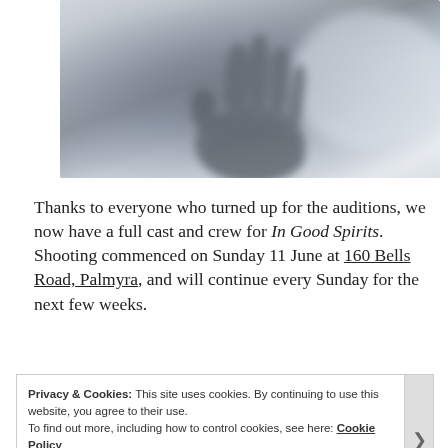[Figure (photo): A blurred, ghostly image of a hand pressed against a frosted glass surface, in grey tones suggesting a horror/supernatural theme.]
Thanks to everyone who turned up for the auditions, we now have a full cast and crew for In Good Spirits. Shooting commenced on Sunday 11 June at 160 Bells Road, Palmyra, and will continue every Sunday for the next few weeks.
Privacy & Cookies: This site uses cookies. By continuing to use this website, you agree to their use.
To find out more, including how to control cookies, see here: Cookie Policy
Close and accept